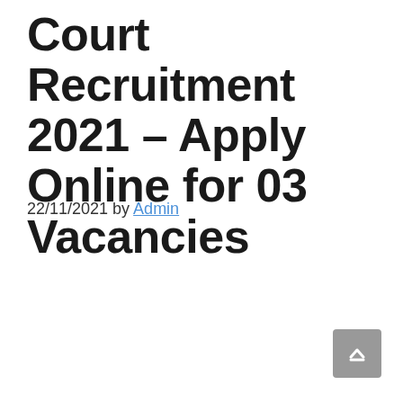Court Recruitment 2021 – Apply Online for 03 Vacancies
22/11/2021 by Admin